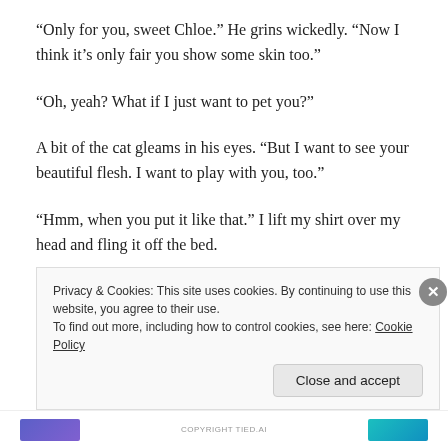“Only for you, sweet Chloe.” He grins wickedly. “Now I think it’s only fair you show some skin too.”
“Oh, yeah? What if I just want to pet you?”
A bit of the cat gleams in his eyes. “But I want to see your beautiful flesh. I want to play with you, too.”
“Hmm, when you put it like that.” I lift my shirt over my head and fling it off the bed.
He sits up rapidly, leaning to lick along my collar bone as
Privacy & Cookies: This site uses cookies. By continuing to use this website, you agree to their use.
To find out more, including how to control cookies, see here: Cookie Policy
Close and accept